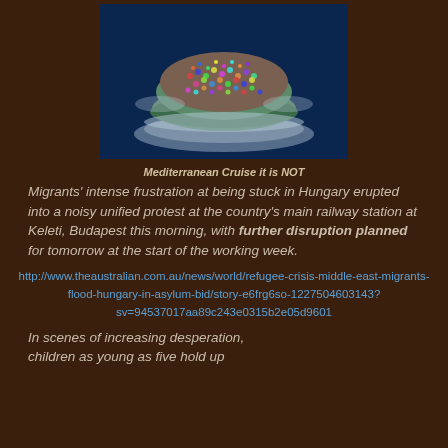[Figure (photo): Aerial view of an overcrowded boat carrying migrants on the Mediterranean sea]
Mediterranean Cruise it is NOT
Migrants' intense frustration at being stuck in Hungary erupted into a noisy unified protest at the country's main railway station at Keleti, Budapest this morning, with further disruption planned for tomorrow at the start of the working week.
http://www.theaustralian.com.au/news/world/refugee-crisis-middle-east-migrants-flood-hungary-in-asylum-bid/story-e6frg6so-12275046031 43?sv=94537017aa89c243e0315b2e05d9601
In scenes of increasing desperation, children as young as five hold up